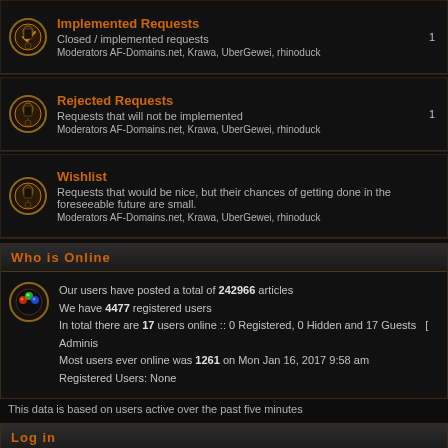Implemented Requests
Closed / implemented requests
Moderators AF-Domains.net, Krawa, UberGewei, rhinoduck
Rejected Requests
Requests that will not be implemented
Moderators AF-Domains.net, Krawa, UberGewei, rhinoduck
Wishlist
Requests that would be nice, but their chances of getting done in the foreseeable future are small.
Moderators AF-Domains.net, Krawa, UberGewei, rhinoduck
Who is Online
Our users have posted a total of 242966 articles
We have 4477 registered users
In total there are 17 users online :: 0 Registered, 0 Hidden and 17 Guests   [ Adminis
Most users ever online was 1261 on Mon Jan 16, 2017 9:58 am
Registered Users: None
This data is based on users active over the past five minutes
Log in
Username: [input] Password: [input] Log me on automa
New posts   No new posts
Powered by phpBB © 2001, 2005 phpBB Group